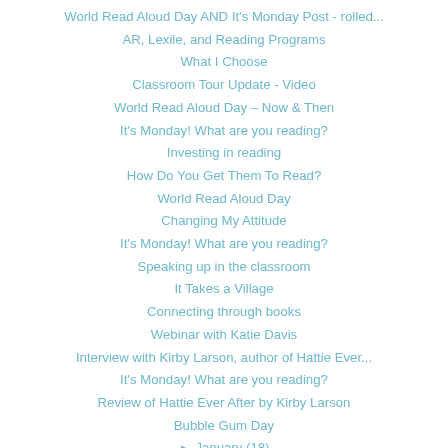World Read Aloud Day AND It's Monday Post - rolled...
AR, Lexile, and Reading Programs
What I Choose
Classroom Tour Update - Video
World Read Aloud Day – Now & Then
It's Monday! What are you reading?
Investing in reading
How Do You Get Them To Read?
World Read Aloud Day
Changing My Attitude
It's Monday! What are you reading?
Speaking up in the classroom
It Takes a Village
Connecting through books
Webinar with Katie Davis
Interview with Kirby Larson, author of Hattie Ever...
It's Monday! What are you reading?
Review of Hattie Ever After by Kirby Larson
Bubble Gum Day
► January (18)
► 2012 (205)